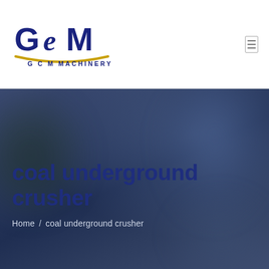[Figure (logo): GCM Machinery logo — dark blue bold 'GCM' letters with gold arc underline and 'G C M  MACHINERY' text below]
coal underground crusher
Home / coal underground crusher